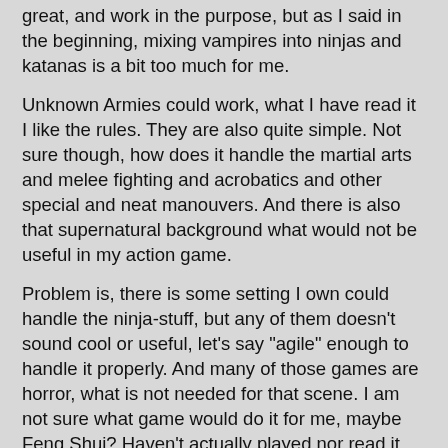great, and work in the purpose, but as I said in the beginning, mixing vampires into ninjas and katanas is a bit too much for me.
Unknown Armies could work, what I have read it I like the rules. They are also quite simple. Not sure though, how does it handle the martial arts and melee fighting and acrobatics and other special and neat manouvers. And there is also that supernatural background what would not be useful in my action game.
Problem is, there is some setting I own could handle the ninja-stuff, but any of them doesn't sound cool or useful, let's say "agile" enough to handle it properly. And many of those games are horror, what is not needed for that scene. I am not sure what game would do it for me, maybe Feng Shui? Haven't actually played nor read it ever, but it might be that hong kong action game what could handle it well what I tried and failed with V:tM.
If I find a cheap copy of Feng Shui somewhere, I might try it out.